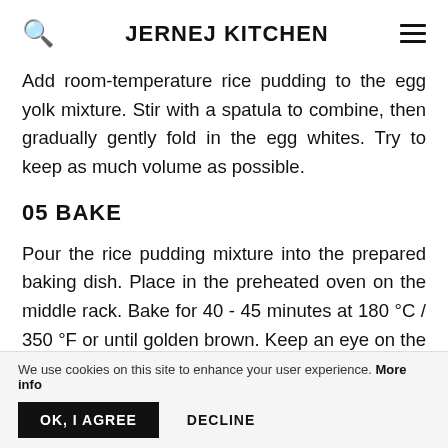JERNEJ KITCHEN
Add room-temperature rice pudding to the egg yolk mixture. Stir with a spatula to combine, then gradually gently fold in the egg whites. Try to keep as much volume as possible.
05 BAKE
Pour the rice pudding mixture into the prepared baking dish. Place in the preheated oven on the middle rack. Bake for 40 - 45 minutes at 180 °C / 350 °F or until golden brown. Keep an eye on the rice pudding for the last 15 minutes to prevent burning. If you feel like the rice
We use cookies on this site to enhance your user experience. More info
OK, I AGREE   DECLINE